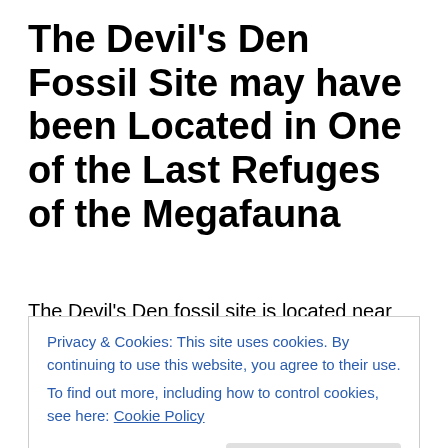The Devil's Den Fossil Site may have been Located in One of the Last Refuges of the Megafauna
The Devil's Den fossil site is located near Williston, Florida in Levy County.  It's a sinkhole that served as a natural trap between 9,000 BP and 8,000 BP.  Apparently, the sinkhole closed until a few hundred years ago when it reopened and began trapping animals again.  The
Privacy & Cookies: This site uses cookies. By continuing to use this website, you agree to their use.
To find out more, including how to control cookies, see here: Cookie Policy
Close and accept
bedrock creates sinkholes such as this one.